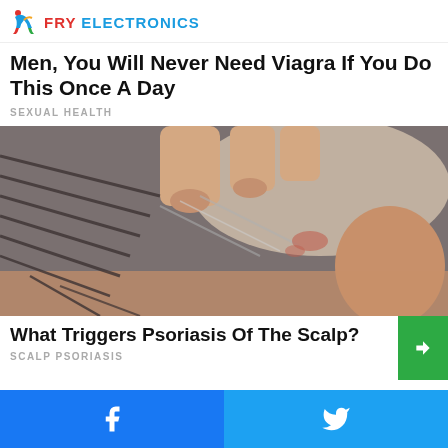FRY ELECTRONICS
Men, You Will Never Need Viagra If You Do This Once A Day
SEXUAL HEALTH
[Figure (photo): Close-up photo of a man scratching his scalp, showing grey hair and skin condition near the neckline and ear area]
What Triggers Psoriasis Of The Scalp?
SCALP PSORIASIS